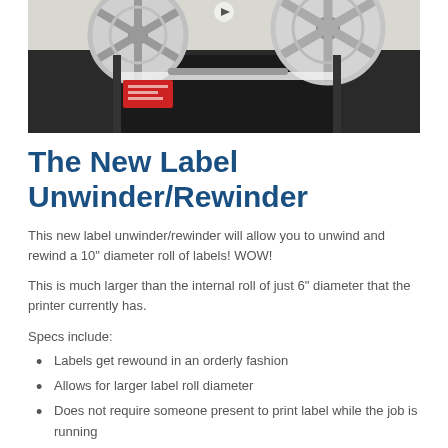[Figure (photo): Photo of a label unwinder/rewinder machine with large gray spoked reels on top and black body, with labels/paper threaded through the mechanism. A play button icon is visible in the upper center of the image.]
The New Label Unwinder/Rewinder
This new label unwinder/rewinder will allow you to unwind and rewind a 10" diameter roll of labels! WOW!
This is much larger than the internal roll of just 6" diameter that the printer currently has.
Specs include:
Labels get rewound in an orderly fashion
Allows for larger label roll diameter
Does not require someone present to print label while the job is running